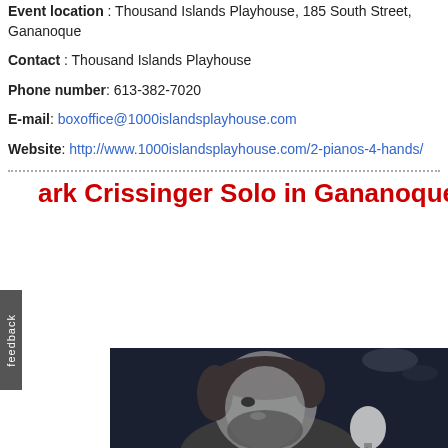Event location: Thousand Islands Playhouse, 185 South Street, Gananoque
Contact: Thousand Islands Playhouse
Phone number: 613-382-7020
E-mail: boxoffice@1000islandsplayhouse.com
Website: http://www.1000islandsplayhouse.com/2-pianos-4-hands/
Mark Crissinger Solo in Gananoque
[Figure (photo): Black and white photo of a man with a beard singing or speaking into a microphone, shot from the side, dark background with bokeh lighting]